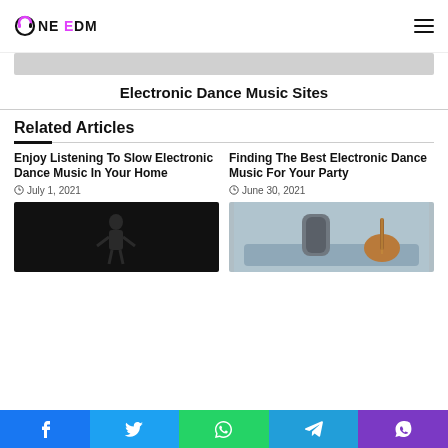OneEDM
[Figure (illustration): Gray banner placeholder image]
Electronic Dance Music Sites
Related Articles
Enjoy Listening To Slow Electronic Dance Music In Your Home
July 1, 2021
Finding The Best Electronic Dance Music For Your Party
June 30, 2021
[Figure (photo): Dark concert photo with performer silhouette]
[Figure (photo): Smart speaker on table with guitar in background]
f  t  WhatsApp  Telegram  Viber social sharing buttons